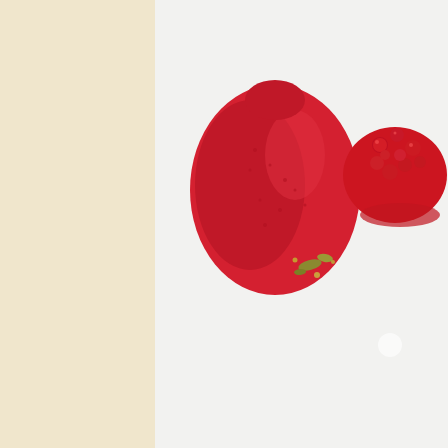[Figure (photo): Top-down food photography on white background showing a red strawberry-shaped item with green pistachio crumbs, and a dome of red strawberry sauce with glossy berries, on a white plate surface.]
With the strawberry sauce. The pistachio was formed into a kind of mouss... foie gras. Superb.
[Figure (photo): Close-up food photography showing a golden-brown pastry brioche or bun with a glossy glaze, a dark ceramic vessel on the left, and a bottle visible on the right, on a light surface.]